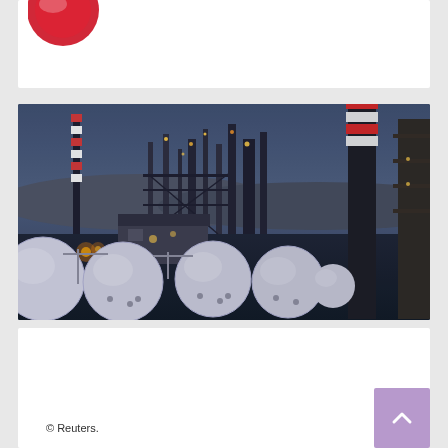[Figure (photo): Partial logo visible at top of page, red circular design on white background]
[Figure (photo): Industrial oil refinery photographed at dusk/dawn. Shows large spherical white storage tanks in foreground, tall smokestacks with red and white striping, complex network of pipes, towers, and processing units illuminated with orange and yellow lights against a blue-grey twilight sky. Distant hills visible on horizon.]
© Reuters.